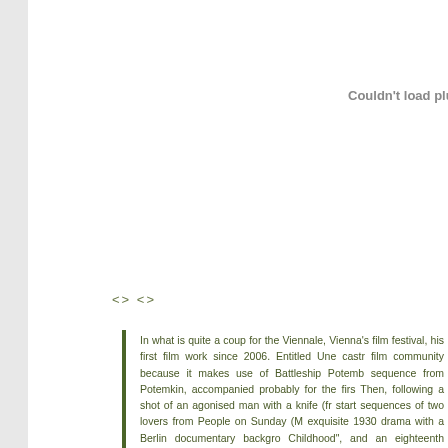[Figure (other): Plugin placeholder area - 'Couldn't load plugin' message in grey]
<> <>
In what is quite a coup for the Viennale, Vienna's film festival, his first film work since 2006. Entitled Une castr film community because it makes use of Battleship Potemkin sequence from Potemkin, accompanied probably for the firs Then, following a shot of an agonised man with a knife (fr start sequences of two lovers from People on Sunday (M exquisite 1930 drama with a Berlin documentary backgro Childhood", and an eighteenth century poem in Low Germ